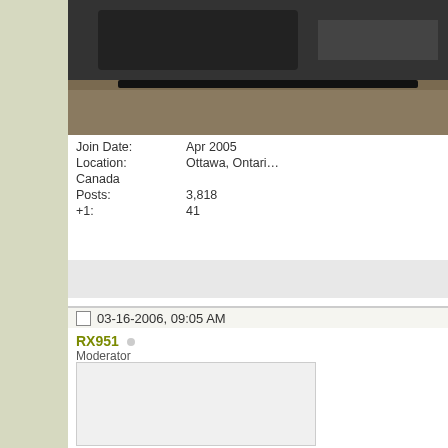[Figure (photo): Partial photo of a vehicle/equipment, dark tones, partially visible at top right of page]
Join Date: Apr 2005
Location: Ottawa, Ontario, Canada
Posts: 3,818
+1: 41
03-16-2006, 09:05 AM
RX951
Moderator
[Figure (photo): User avatar placeholder image, light gray box]
Join Date: Apr 2005
Location: San Antonio, T...
Posts: 16,075
+1: 29